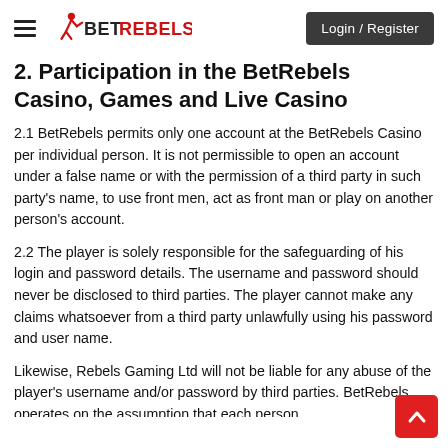BetRebels — Login / Register
2. Participation in the BetRebels Casino, Games and Live Casino
2.1 BetRebels permits only one account at the BetRebels Casino per individual person. It is not permissible to open an account under a false name or with the permission of a third party in such party's name, to use front men, act as front man or play on another person's account.
2.2 The player is solely responsible for the safeguarding of his login and password details. The username and password should never be disclosed to third parties. The player cannot make any claims whatsoever from a third party unlawfully using his password and user name.
Likewise, Rebels Gaming Ltd will not be liable for any abuse of the player's username and/or password by third parties. BetRebels operates on the assumption that each person